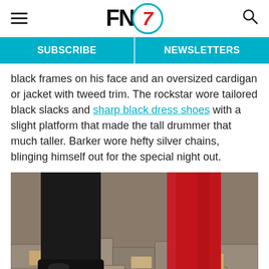FN (Footwear News) logo with hamburger menu and search icon
SUBSCRIBE   NEWSLETTERS
black frames on his face and an oversized cardigan or jacket with tweed trim. The rockstar wore tailored black slacks and sharp black dress shoes with a slight platform that made the tall drummer that much taller. Barker wore hefty silver chains, blinging himself out for the special night out.
[Figure (photo): Close-up photo of two pairs of legs/feet walking on stone pavement. On the left, black dress pants and shiny black platform Oxford shoes. On the right, red thigh-high boots with open-toe heeled sandals.]